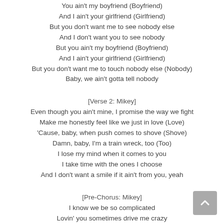You ain't my boyfriend (Boyfriend)
And I ain't your girlfriend (Girlfriend)
But you don't want me to see nobody else
And I don't want you to see nobody
But you ain't my boyfriend (Boyfriend)
And I ain't your girlfriend (Girlfriend)
But you don't want me to touch nobody else (Nobody)
Baby, we ain't gotta tell nobody
[Verse 2: Mikey]
Even though you ain't mine, I promise the way we fight
Make me honestly feel like we just in love (Love)
'Cause, baby, when push comes to shove (Shove)
Damn, baby, I'm a train wreck, too (Too)
I lose my mind when it comes to you
I take time with the ones I choose
And I don't want a smile if it ain't from you, yeah
[Pre-Chorus: Mikey]
I know we be so complicated
Lovin' you sometimes drive me crazy